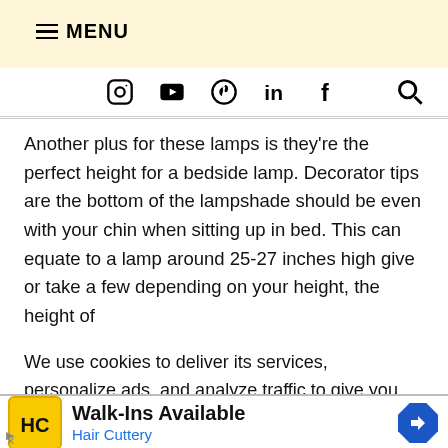≡ MENU
[Figure (other): Social media icon navigation bar with Instagram, YouTube, Pinterest, LinkedIn, Facebook icons and a search icon]
Another plus for these lamps is they're the perfect height for a bedside lamp. Decorator tips are the bottom of the lampshade should be even with your chin when sitting up in bed. This can equate to a lamp around 25-27 inches high give or take a few depending on your height, the height of
We use cookies to deliver its services, personalize ads, and analyze traffic to give you the best experience on our website. By using this site, you agree to its use of cookies.
∨  n more
[Figure (other): Hair Cuttery advertisement banner: Walk-Ins Available, Hair Cuttery logo with HC in yellow circle, blue navigation arrow icon]